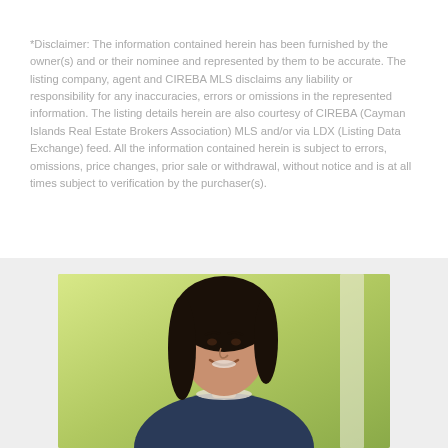*Disclaimer: The information contained herein has been furnished by the owner(s) and or their nominee and represented by them to be accurate. The listing company, agent and CIREBA MLS disclaims any liability or responsibility for any inaccuracies, errors or omissions in the represented information. The listing details herein are also courtesy of CIREBA (Cayman Islands Real Estate Brokers Association) MLS and/or via LDX (Listing Data Exchange) feed. All the information contained herein is subject to errors, omissions, price changes, prior sale or withdrawal, without notice and is at all times subject to verification by the purchaser(s).
[Figure (photo): Professional headshot photo of a woman with dark hair, smiling, wearing a dark vest and pearl necklace, photographed outdoors with green foliage in the background and a white pillar visible on the right.]